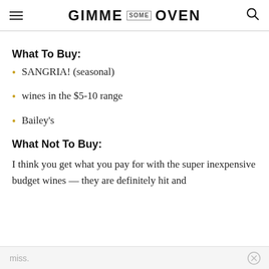GIMME SOME OVEN
What To Buy:
SANGRIA! (seasonal)
wines in the $5-10 range
Bailey's
What Not To Buy:
I think you get what you pay for with the super inexpensive budget wines — they are definitely hit and
miss.